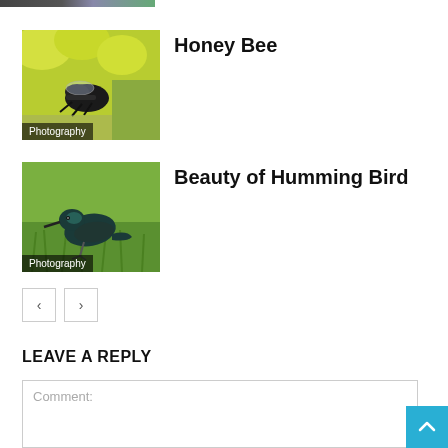[Figure (photo): Partial top strip showing a photography post thumbnail at the very top of the page, cropped]
[Figure (photo): Photo of a honey bee on yellow flowers with dark background, overlaid with Photography category badge]
Honey Bee
[Figure (photo): Photo of a hummingbird (tui bird) on green grass, overlaid with Photography category badge]
Beauty of Humming Bird
Pagination: left arrow button, right arrow button
LEAVE A REPLY
Comment: